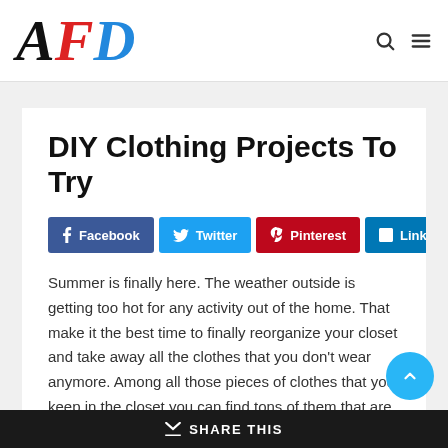AFD
DIY Clothing Projects To Try
Facebook Twitter Pinterest LinkedIn
Summer is finally here. The weather outside is getting too hot for any activity out of the home. That make it the best time to finally reorganize your closet and take away all the clothes that you don't wear anymore. Among all those pieces of clothes that you keep in the closet you can find tons of them that are not usable anymore. Or, at least not in their original size and shape. You may have lost some
SHARE THIS